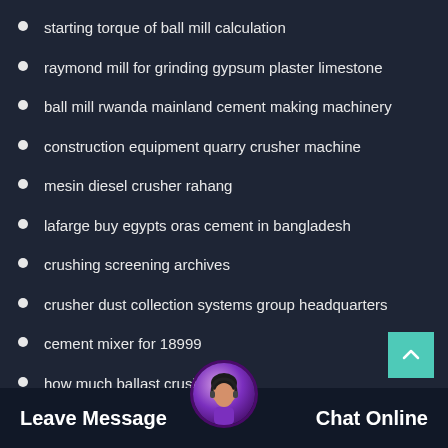starting torque of ball mill calculation
raymond mill for grinding gypsum plaster limestone
ball mill rwanda mainland cement making machinery
construction equipment quarry crusher machine
mesin diesel crusher rahang
lafarge buy egypts oras cement in bangladesh
crushing screening archives
crusher dust collection systems group headquarters
cement mixer for 18999
how much ballast crushing machine st
cement crushers romania ce
Leave Message    Chat Online